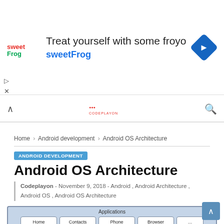[Figure (screenshot): Advertisement banner for sweetFrog frozen yogurt with logo, headline text 'Treat yourself with some froyo', brand name 'sweetFrog', and a blue diamond navigation icon on the right.]
CODEPLAYON navigation bar with back caret and search icon
Home > Android development > Android OS Architecture
ANDROID DEVELOPMENT
Android OS Architecture
Codeplayon - November 9, 2018 - Android , Android Architecture , Android OS , Android OS Architecture
[Figure (infographic): Android OS Architecture layered diagram showing Applications layer (Home, Contacts, Phone, Browser, ...) and Application framework layer (Activity manager, Window manager, Content providers, View system, Package..., Telephony..., Resource..., Location, Notification...)]